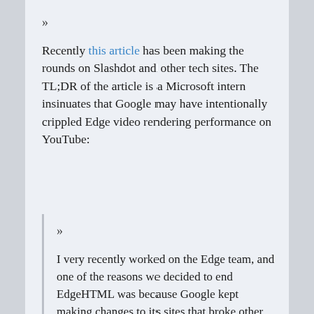»
Recently this article has been making the rounds on Slashdot and other tech sites. The TL;DR of the article is a Microsoft intern insinuates that Google may have intentionally crippled Edge video rendering performance on YouTube:
»
I very recently worked on the Edge team, and one of the reasons we decided to end EdgeHTML was because Google kept making changes to its sites that broke other browsers, and we couldn't keep up. For example, they recently added a hidden empty div over YouTube videos that causes our hardware acceleration fast-path to bail